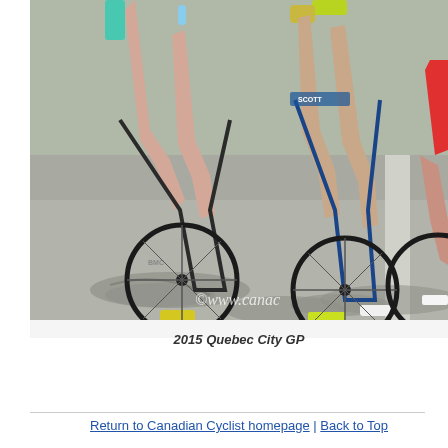[Figure (photo): Close-up photo of cyclists racing at the 2015 Quebec City GP. The image shows the lower bodies and bicycles of multiple riders on a road, with visible cycling shoes, socks, and bicycle frames. One cyclist wears yellow-green shoes and a Movistar jersey (blue/green), another has a BMC bike. Shadows of the cyclists and bikes are cast on the road. A watermark reads '©www.canac' in the bottom right corner.]
2015 Quebec City GP
Return to Canadian Cyclist homepage | Back to Top